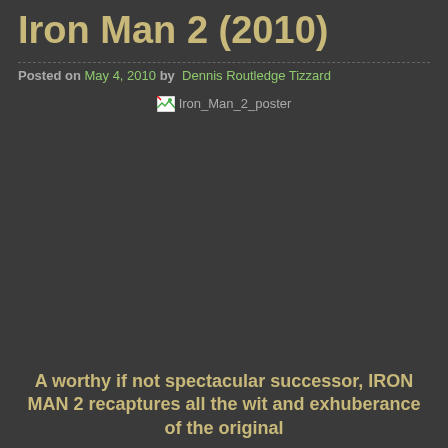Iron Man 2 (2010)
Posted on May 4, 2010 by  Dennis Routledge Tizzard
[Figure (photo): Broken image placeholder for Iron_Man_2_poster]
A worthy if not spectacular successor, IRON MAN 2 recaptures all the wit and exhuberance of the original